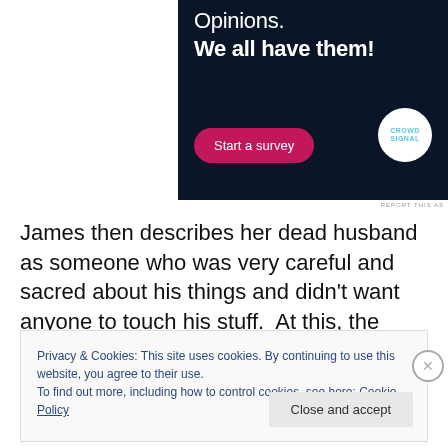[Figure (other): Advertisement banner with dark navy background showing 'Opinions. We all have them!' text, a pink 'Start a survey' button, and CrowdSignal logo circle]
REPORT THIS AS
James then describes her dead husband as someone who was very careful and sacred about his things and didn't want anyone to touch his stuff.  At this, the woman got
Privacy & Cookies: This site uses cookies. By continuing to use this website, you agree to their use.
To find out more, including how to control cookies, see here: Cookie Policy
Close and accept